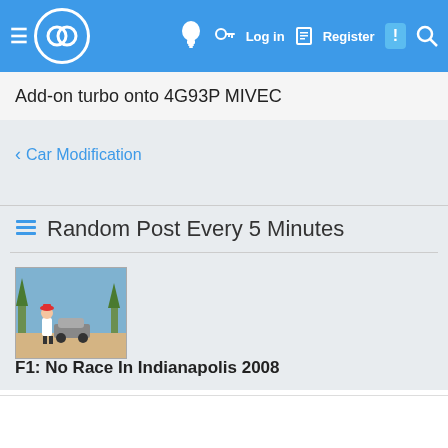≡ [logo] 💡 🔑 Log in 📋 Register ! 🔍
Add-on turbo onto 4G93P MIVEC
< Car Modification
Random Post Every 5 Minutes
[Figure (illustration): Cartoon illustration of a character with red hat standing in front of a car in a nature setting]
F1: No Race In Indianapolis 2008